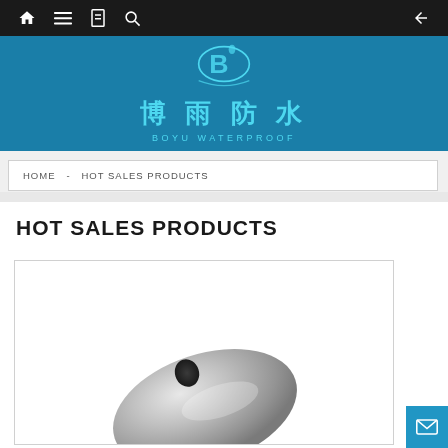Navigation bar with home, menu, bookmark, search, and back icons
[Figure (logo): Boyu Waterproof company logo with Chinese characters 博雨防水 and English text BOYU WATERPROOF on a teal/blue background with a stylized water drop B emblem]
HOME  -  HOT SALES PRODUCTS
HOT SALES PRODUCTS
[Figure (photo): Partial product photo showing a metallic oval-shaped waterproofing component or fitting, silver/grey colored, with a small hole visible]